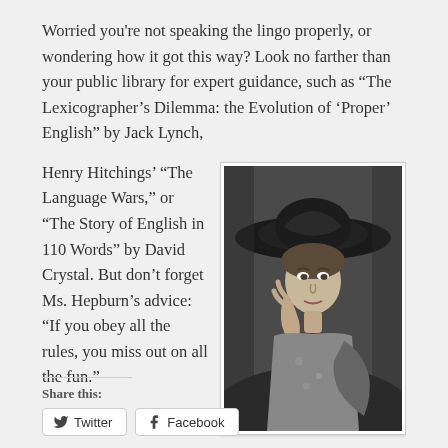Worried you're not speaking the lingo properly, or wondering how it got this way? Look no farther than your public library for expert guidance, such as “The Lexicographer’s Dilemma: the Evolution of ‘Proper’ English” by Jack Lynch,
Henry Hitchings’ “The Language Wars,” or “The Story of English in 110 Words” by David Crystal. But don’t forget Ms. Hepburn’s advice: “If you obey all the rules, you miss out on all the fun.”
[Figure (photo): Black and white photograph of a woman (likely Katharine Hepburn) wearing a large wide-brimmed hat, posed elegantly with her hand near her face.]
Share this:
Twitter   Facebook